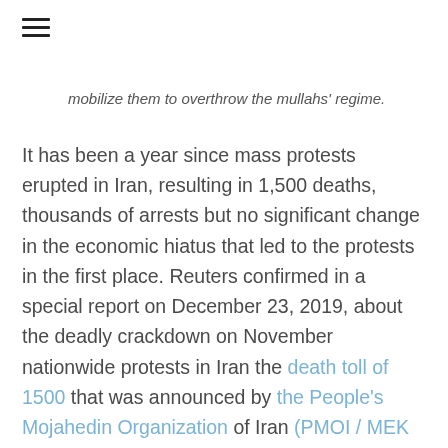☰
mobilize them to overthrow the mullahs' regime.
It has been a year since mass protests erupted in Iran, resulting in 1,500 deaths, thousands of arrests but no significant change in the economic hiatus that led to the protests in the first place. Reuters confirmed in a special report on December 23, 2019, about the deadly crackdown on November nationwide protests in Iran the death toll of 1500 that was announced by the People's Mojahedin Organization of Iran (PMOI / MEK Iran) on December 15, 2019. Even state-run media in Iran, like the Sharq daily, have pointed out that this failure to solve the socio-economic problems in the country is only likely to lead to new mass protests. It's not a question of if, but when. The next big series of protests across Iran may just be large enough to remove the mullahs and the Supreme Leader from their